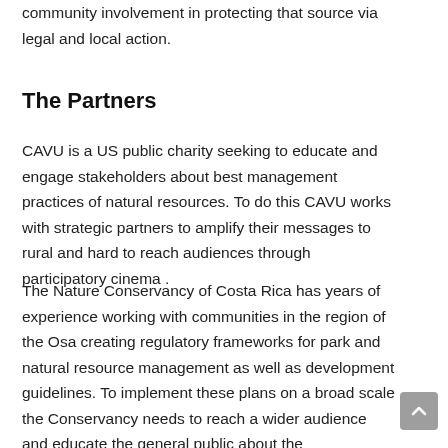community involvement in protecting that source via legal and local action.
The Partners
CAVU is a US public charity seeking to educate and engage stakeholders about best management practices of natural resources. To do this CAVU works with strategic partners to amplify their messages to rural and hard to reach audiences through participatory cinema .
The Nature Conservancy of Costa Rica has years of experience working with communities in the region of the Osa creating regulatory frameworks for park and natural resource management as well as development guidelines. To implement these plans on a broad scale the Conservancy needs to reach a wider audience and educate the general public about the management plans and techniques in order to increase the effectiveness of the implementation.